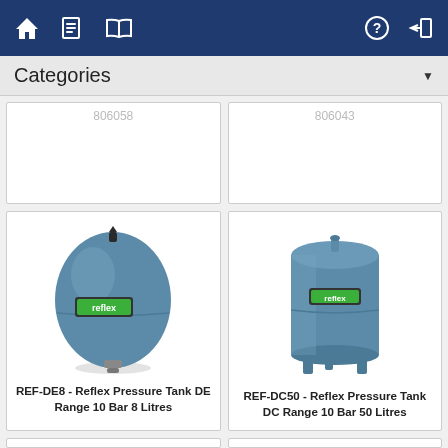Navigation bar with home, list, book icons and help, login icons
Categories
[Figure (photo): Partial product card with ID 806058 (top cut off)]
[Figure (photo): Partial product card with ID 806043 (top cut off)]
[Figure (photo): REF-DE8 Reflex Pressure Tank DE Range 10 Bar 8 Litres - blue spherical expansion vessel with reflex logo]
REF-DE8 - Reflex Pressure Tank DE Range 10 Bar 8 Litres
[Figure (photo): REF-DC50 Reflex Pressure Tank DC Range 10 Bar 50 Litres - blue cylindrical tank on legs with reflex logo]
REF-DC50 - Reflex Pressure Tank DC Range 10 Bar 50 Litres